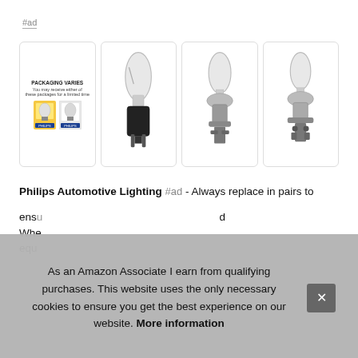#ad
[Figure (photo): Four product images of Philips automotive halogen bulbs. First card shows packaging with text 'PACKAGING VARIES - You may receive either of these packages for a limited time' and two Philips product packages. Second, third, and fourth cards each show a single halogen bulb against white background.]
Philips Automotive Lighting #ad - Always replace in pairs to ensure consistent light beam for both bulbs on the road. When... equ...
As an Amazon Associate I earn from qualifying purchases. This website uses the only necessary cookies to ensure you get the best experience on our website. More information